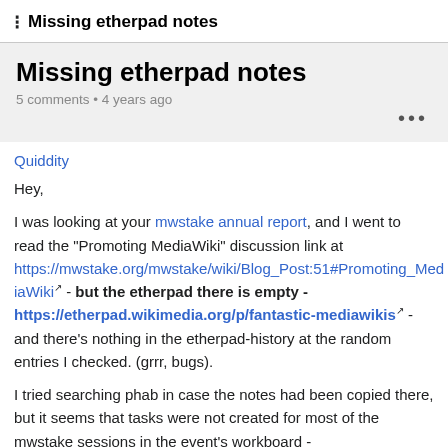≡ Missing etherpad notes
Missing etherpad notes
5 comments • 4 years ago
...
Quiddity
Hey,
I was looking at your mwstake annual report, and I went to read the "Promoting MediaWiki" discussion link at https://mwstake.org/mwstake/wiki/Blog_Post:51#Promoting_MediaWiki - but the etherpad there is empty - https://etherpad.wikimedia.org/p/fantastic-mediawikis - and there's nothing in the etherpad-history at the random entries I checked. (grrr, bugs).
I tried searching phab in case the notes had been copied there, but it seems that tasks were not created for most of the mwstake sessions in the event's workboard -